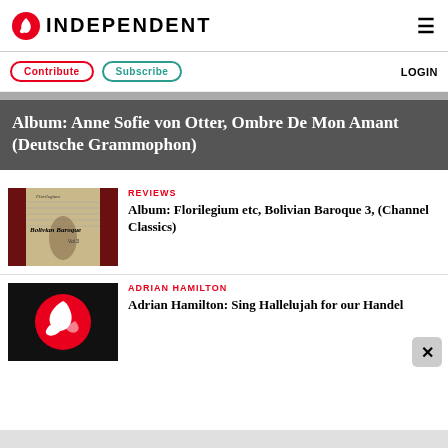INDEPENDENT
Contribute  Subscribe  LOGIN
Album: Anne Sofie von Otter, Ombre De Mon Amant (Deutsche Grammophon)
[Figure (photo): Album cover for Bolivian Baroque Vol. 3 by Florilegium]
REVIEWS
Album: Florilegium etc, Bolivian Baroque 3, (Channel Classics)
[Figure (logo): The Independent logo - white eagle on red circle, black background]
ADRIAN HAMILTON
Adrian Hamilton: Sing Hallelujah for our Handel